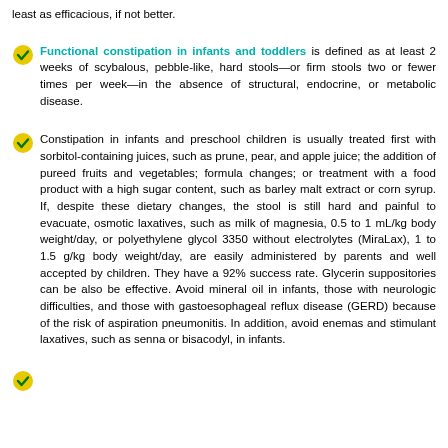least as efficacious, if not better.
Functional constipation in infants and toddlers is defined as at least 2 weeks of scybalous, pebble-like, hard stools—or firm stools two or fewer times per week—in the absence of structural, endocrine, or metabolic disease.
Constipation in infants and preschool children is usually treated first with sorbitol-containing juices, such as prune, pear, and apple juice; the addition of pureed fruits and vegetables; formula changes; or treatment with a food product with a high sugar content, such as barley malt extract or corn syrup. If, despite these dietary changes, the stool is still hard and painful to evacuate, osmotic laxatives, such as milk of magnesia, 0.5 to 1 mL/kg body weight/day, or polyethylene glycol 3350 without electrolytes (MiraLax), 1 to 1.5 g/kg body weight/day, are easily administered by parents and well accepted by children. They have a 92% success rate. Glycerin suppositories can be also be effective. Avoid mineral oil in infants, those with neurologic difficulties, and those with gastoesophageal reflux disease (GERD) because of the risk of aspiration pneumonitis. In addition, avoid enemas and stimulant laxatives, such as senna or bisacodyl, in infants.